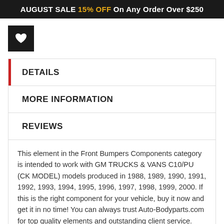AUGUST SALE 15% OFF On Any Order Over $250
[Figure (other): Wishlist heart button icon — black square button with white heart]
DETAILS
MORE INFORMATION
REVIEWS
This element in the Front Bumpers Components category is intended to work with GM TRUCKS & VANS C10/PU (CK MODEL) models produced in 1988, 1989, 1990, 1991, 1992, 1993, 1994, 1995, 1996, 1997, 1998, 1999, 2000. If this is the right component for your vehicle, buy it now and get it in no time! You can always trust Auto-Bodyparts.com for top quality elements and outstanding client service.